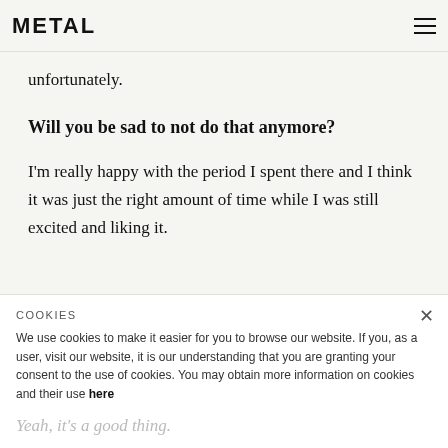METAL
unfortunately.
Will you be sad to not do that anymore?
I'm really happy with the period I spent there and I think it was just the right amount of time while I was still excited and liking it.
So you're ending on a high...
Yeah, it's a good thing.
COOKIES
We use cookies to make it easier for you to browse our website. If you, as a user, visit our website, it is our understanding that you are granting your consent to the use of cookies. You may obtain more information on cookies and their use here
OK
On that note, I shall let you get back to work